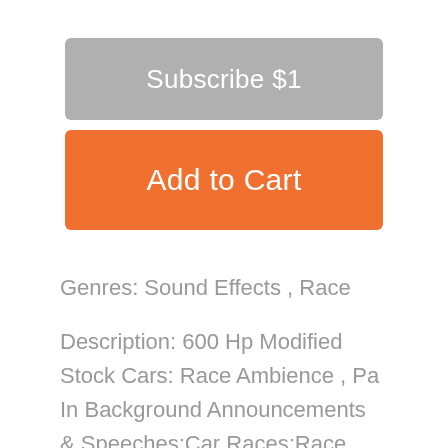Subscribe $1
Add to Cart
Genres: Sound Effects , Race
Description: 600 Hp Modified Stock Cars: Race Ambience , Pa In Background Announcements & Speeches;Car Races;Race